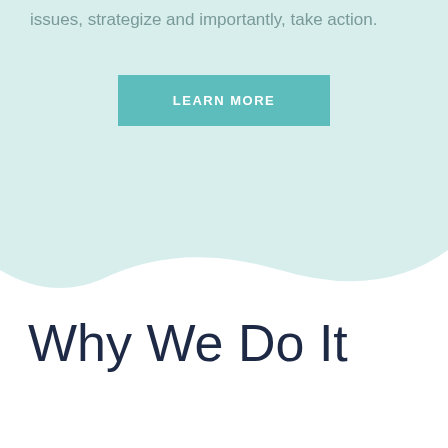issues, strategize and importantly, take action.
[Figure (other): LEARN MORE button with teal background]
[Figure (other): Wave transition from light teal background to white]
Why We Do It